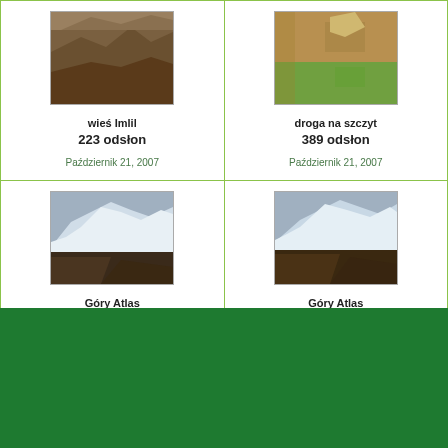[Figure (photo): Photo of village Imlil, mountainous terrain with brown rocky landscape]
wieś Imlil
223 odsłon
Październik 21, 2007
[Figure (photo): Photo of road to the peak, mountain path with green vegetation]
droga na szczyt
389 odsłon
Październik 21, 2007
[Figure (photo): Photo of Atlas Mountains with snow-capped peaks]
Góry Atlas
236 odsłon
Październik 21, 2007
[Figure (photo): Photo of Atlas Mountains with snow-capped peaks]
Góry Atlas
231 odsłon
Październik 21, 2007
Powered by Coppe